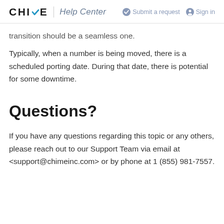CHIME Help Center
transition should be a seamless one.
Typically, when a number is being moved, there is a scheduled porting date. During that date, there is potential for some downtime.
Questions?
If you have any questions regarding this topic or any others, please reach out to our Support Team via email at <support@chimeinc.com> or by phone at 1 (855) 981-7557.